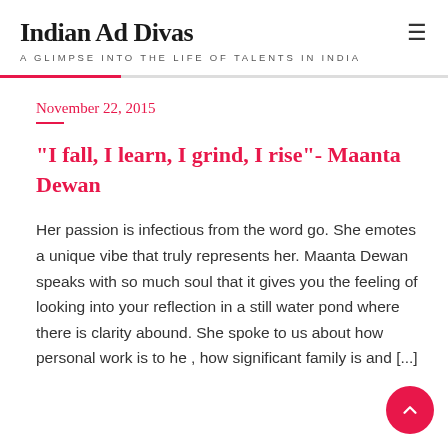Indian Ad Divas
A GLIMPSE INTO THE LIFE OF TALENTS IN INDIA
November 22, 2015
"I fall, I learn, I grind, I rise"- Maanta Dewan
Her passion is infectious from the word go. She emotes a unique vibe that truly represents her. Maanta Dewan speaks with so much soul that it gives you the feeling of looking into your reflection in a still water pond where there is clarity abound. She spoke to us about how personal work is to her, how significant family is and [...]